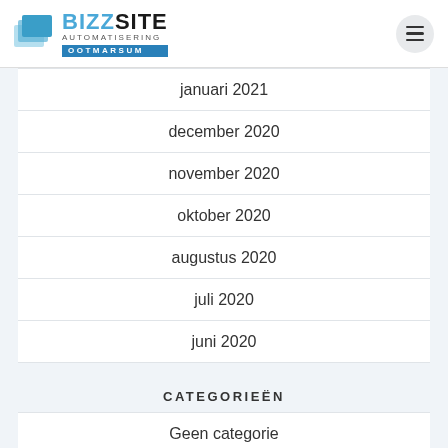BIZZSITE AUTOMATISERING OOTMARSUM
januari 2021
december 2020
november 2020
oktober 2020
augustus 2020
juli 2020
juni 2020
CATEGORIEËN
Geen categorie